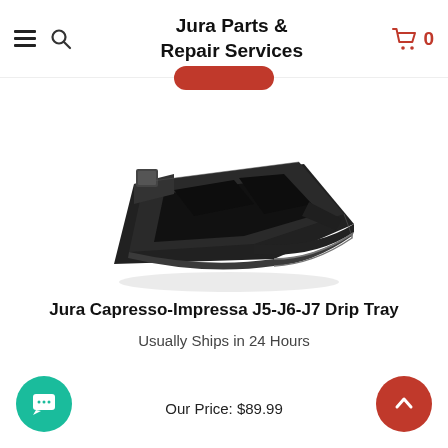Jura Parts & Repair Services
[Figure (photo): Black plastic Jura Capresso-Impressa J5-J6-J7 drip tray shown at an angle against a white background.]
Jura Capresso-Impressa J5-J6-J7 Drip Tray
Usually Ships in 24 Hours
Our Price: $89.99